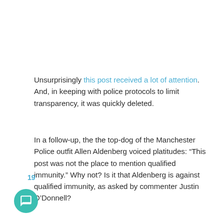Unsurprisingly this post received a lot of attention. And, in keeping with police protocols to limit transparency, it was quickly deleted.
In a follow-up, the the top-dog of the Manchester Police outfit Allen Aldenberg voiced platitudes: “This post was not the place to mention qualified immunity.” Why not? Is it that Aldenberg is against qualified immunity, as asked by commenter Justin O’Donnell?
19